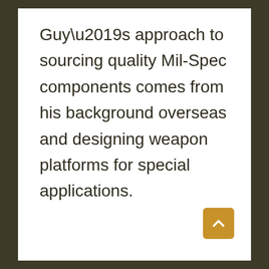Guy’s approach to sourcing quality Mil-Spec components comes from his background overseas and designing weapon platforms for special applications.